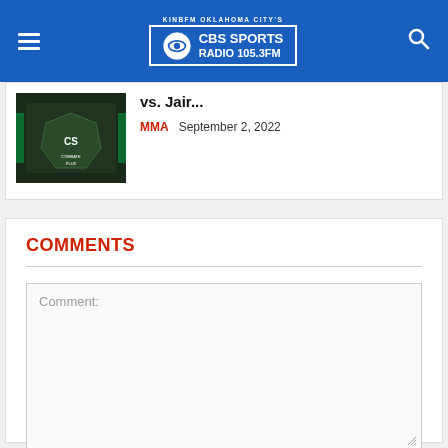KINBFM OKLAHOMA CITY'S CBS SPORTS RADIO 105.3FM
[Figure (photo): MMA arena/octagon photo with Combat Plus logo on floor]
vs. Jair...
MMA  September 2, 2022
COMMENTS
Comment: